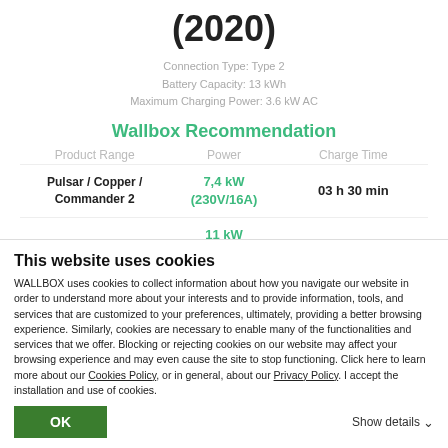(2020)
Connection Type: Type 2
Battery Capacity: 13 kWh
Maximum Charging Power: 3.6 kW AC
Wallbox Recommendation
| Product Range | Power | Charge Time |
| --- | --- | --- |
| Pulsar / Copper / Commander 2 | 7,4 kW (230V/16A) | 03 h 30 min |
| Pulsar | 11 kW (230V/16A) | 03 h 30 min |
This website uses cookies
WALLBOX uses cookies to collect information about how you navigate our website in order to understand more about your interests and to provide information, tools, and services that are customized to your preferences, ultimately, providing a better browsing experience. Similarly, cookies are necessary to enable many of the functionalities and services that we offer. Blocking or rejecting cookies on our website may affect your browsing experience and may even cause the site to stop functioning. Click here to learn more about our Cookies Policy, or in general, about our Privacy Policy. I accept the installation and use of cookies.
OK
Show details